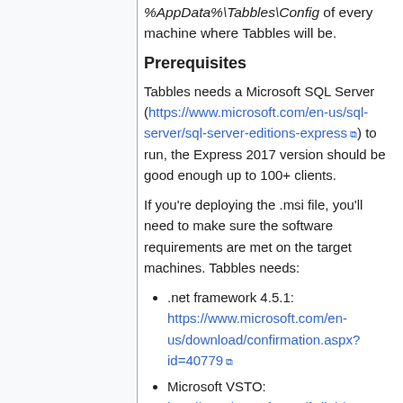%AppData%\Tabbles\Config of every machine where Tabbles will be.
Prerequisites
Tabbles needs a Microsoft SQL Server (https://www.microsoft.com/en-us/sql-server/sql-server-editions-express) to run, the Express 2017 version should be good enough up to 100+ clients.
If you're deploying the .msi file, you'll need to make sure the software requirements are met on the target machines. Tabbles needs:
.net framework 4.5.1: https://www.microsoft.com/en-us/download/confirmation.aspx?id=40779
Microsoft VSTO: http://go.microsoft.com/fwlink/?LinkId=158917